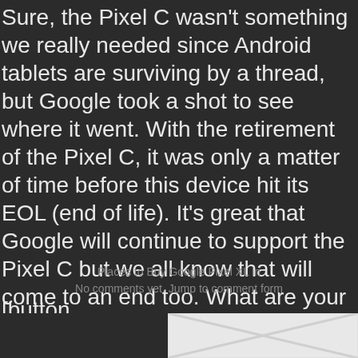Sure, the Pixel C wasn't something we really needed since Android tablets are surviving by a thread, but Google took a shot to see where it went. With the retirement of the Pixel C, it was only a matter of time before this device hit its EOL (end of life). It's great that Google will continue to support the Pixel C but we all know that will come to an end too. What are your guy's thoughts on Google discontinuing the Pixel C? Does anyone here still use their Pixel C every so often? Let us know by leaving your comments down below, or on Google+, Twitter, or Facebook.
Places to Buy Google Pixel XL in
No comments yet. Jump to comment form
[button
[Figure (photo): Partial image visible at bottom of page, light gray background with X watermark pattern]